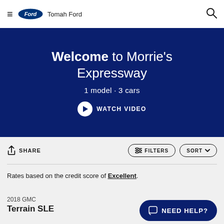≡ Ford Tomah Ford
Welcome to Morrie's Expressway
1 model · 3 cars
WATCH VIDEO
SHARE   FILTERS   SORT
Rates based on the credit score of Excellent.
2018 GMC Terrain SLE
NEED HELP?